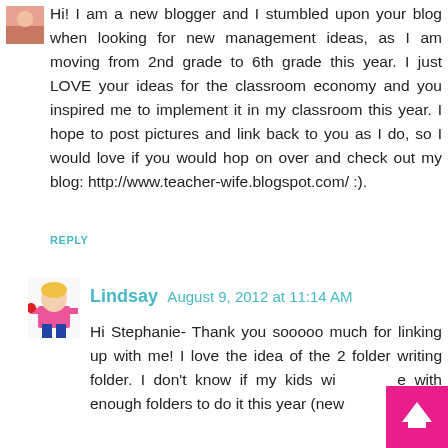[Figure (photo): Small avatar/profile photo thumbnail in top left corner]
Hi! I am a new blogger and I stumbled upon your blog when looking for new management ideas, as I am moving from 2nd grade to 6th grade this year. I just LOVE your ideas for the classroom economy and you inspired me to implement it in my classroom this year. I hope to post pictures and link back to you as I do, so I would love if you would hop on over and check out my blog: http://www.teacher-wife.blogspot.com/ :).
REPLY
[Figure (photo): Avatar/profile photo of Lindsay, showing a cartoon/illustration style figure in pink top]
Lindsay August 9, 2012 at 11:14 AM
Hi Stephanie- Thank you sooooo much for linking up with me! I love the idea of the 2 folder writing folder. I don't know if my kids wi... e with enough folders to do it this year (new ...